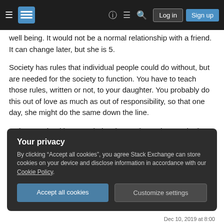Stack Exchange navigation bar with hamburger menu, logo, help, chat, search icons, Log in and Sign up buttons
well being. It would not be a normal relationship with a friend. It can change later, but she is 5.
Society has rules that individual people could do without, but are needed for the society to function. You have to teach those rules, written or not, to your daughter. You probably do this out of love as much as out of responsibility, so that one day, she might do the same down the line.
Going to school is not a choice; it's a rule. And, at 5, she has to learn to follow the rules, before getting to
Your privacy
By clicking “Accept all cookies”, you agree Stack Exchange can store cookies on your device and disclose information in accordance with our Cookie Policy.
Accept all cookies  Customize settings